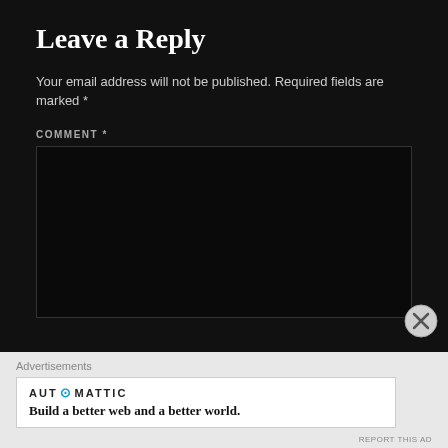Leave a Reply
Your email address will not be published. Required fields are marked *
COMMENT *
[Figure (other): Comment text area input box, dark background]
Advertisements
[Figure (logo): Automattic logo and tagline: Build a better web and a better world.]